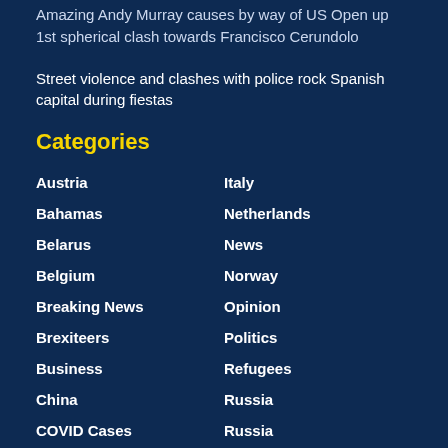Amazing Andy Murray causes by way of US Open up 1st spherical clash towards Francisco Cerundolo
Street violence and clashes with police rock Spanish capital during fiestas
Categories
Austria
Italy
Bahamas
Netherlands
Belarus
News
Belgium
Norway
Breaking News
Opinion
Brexiteers
Politics
Business
Refugees
China
Russia
COVID Cases
Russia
Covid-19
Rwanda
Cyber Security
Saudi Arabia
Debt
Science